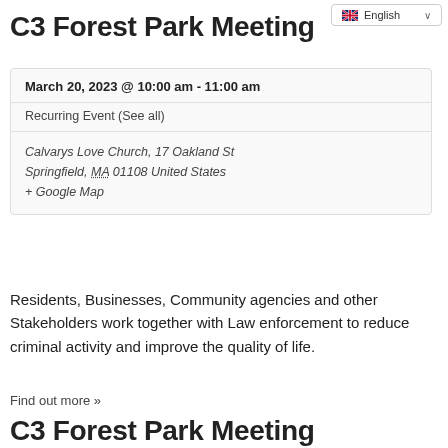English
C3 Forest Park Meeting
March 20, 2023 @ 10:00 am - 11:00 am
Recurring Event (See all)
Calvarys Love Church, 17 Oakland St Springfield, MA 01108 United States + Google Map
Residents, Businesses, Community agencies and other Stakeholders work together with Law enforcement to reduce criminal activity and improve the quality of life.
Find out more »
C3 Forest Park Meeting
March 27, 2023 @ 10:00 am - 11:00 am
Recurring Event (See all)